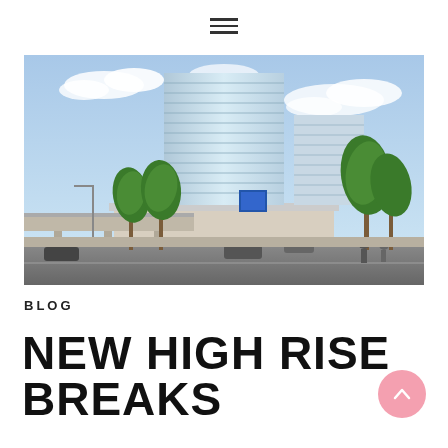[Figure (illustration): Hamburger menu icon with three horizontal lines]
[Figure (photo): Architectural rendering of a tall modern high-rise glass tower building with palm trees in front, a street-level commercial base, blue sky with clouds in the background]
BLOG
NEW HIGH RISE BREAKS